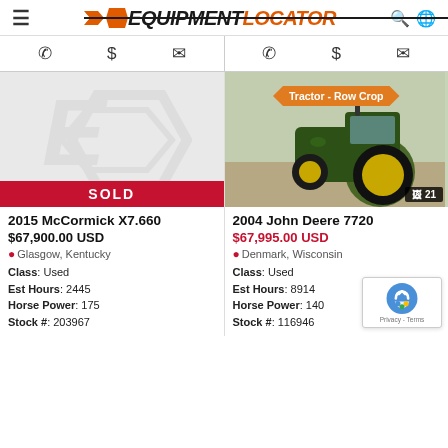Equipment Locator
[Figure (screenshot): Left listing: 2015 McCormick X7.660 - SOLD, placeholder image with Equipment Locator watermark]
[Figure (photo): Right listing: 2004 John Deere 7720 tractor photo, green tractor with yellow wheels, category badge 'Tractor - Row Crop', 21 images]
2015 McCormick X7.660
$67,900.00 USD
Glasgow, Kentucky
Class: Used
Est Hours: 2445
Horse Power: 175
Stock #: 203967
2004 John Deere 7720
$67,995.00 USD
Denmark, Wisconsin
Class: Used
Est Hours: 8914
Horse Power: 140
Stock #: 116946